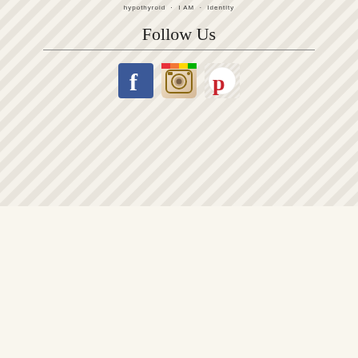hypothyroid · I AM · Identity
Follow Us
[Figure (illustration): Three social media icons: Facebook (blue square with white 'f'), Instagram (camera icon with colorful accents), Pinterest (white circle with red 'p' on patterned background)]